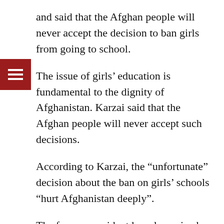and said that the Afghan people will never accept the decision to ban girls from going to school.
The issue of girls' education is fundamental to the dignity of Afghanistan. Karzai said that the Afghan people will never accept such decisions.
According to Karzai, the “unfortunate” decision about the ban on girls’ schools “hurt Afghanistan deeply”.
The former president has also voiced his concerns about the plight of Afghan women and girls earlier as well.
The situation of human rights in Afghanistan has also worsened since the collapse of the Afghan government and the Taliban’s return to power in